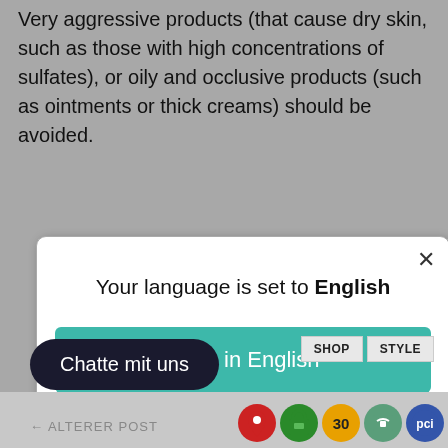Very aggressive products (that cause dry skin, such as those with high concentrations of sulfates), or oily and occlusive products (such as ointments or thick creams) should be avoided.
[Figure (screenshot): Language selection modal dialog with title 'Your language is set to English', a teal 'Shop in English' button, and a 'Change language' link. A close (X) button appears in the top right corner.]
Chatte mit uns
← ALTERER POST